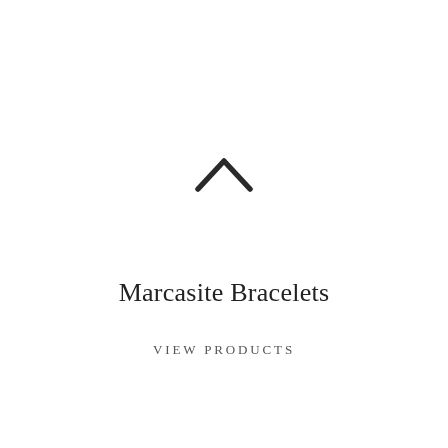[Figure (illustration): A small dark chevron/caret pointing upward, centered on the page]
Marcasite Bracelets
VIEW PRODUCTS